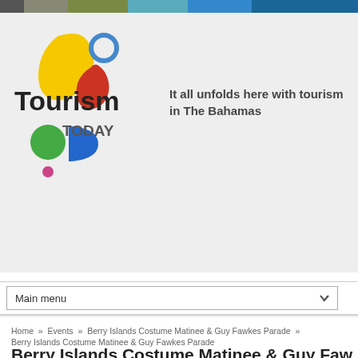[Figure (logo): Tourism Today logo with colorful leaf and teardrop shapes, text 'Tourism TODAY']
It all unfolds here with tourism in The Bahamas
Main menu
Home » Events » Berry Islands Costume Matinee & Guy Fawkes Parade » Berry Islands Costume Matinee & Guy Fawkes Parade
Berry Islands Costume Matinee & Guy Faw